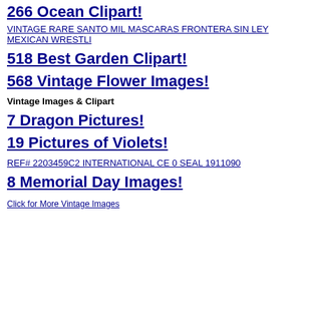266 Ocean Clipart!
VINTAGE RARE SANTO MIL MASCARAS FRONTERA SIN LEY MEXICAN WRESTLI
518 Best Garden Clipart!
568 Vintage Flower Images!
Vintage Images & Clipart
7 Dragon Pictures!
19 Pictures of Violets!
REF# 2203459C2 INTERNATIONAL CE 0 SEAL 1911090
8 Memorial Day Images!
Click for More Vintage Images